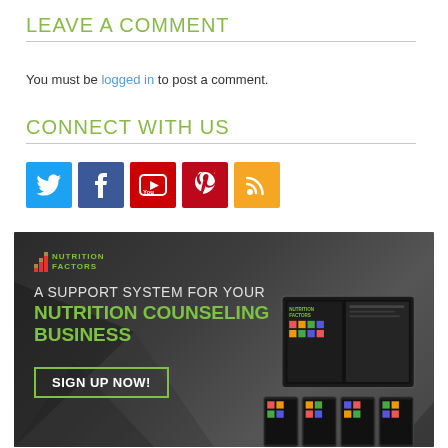LEAVE A COMMENT
You must be logged in to post a comment.
CONNECT WITH US
[Figure (infographic): Social media icons: Twitter (blue), Facebook (dark blue), YouTube (red), Pinterest (red), RSS (orange)]
[Figure (infographic): Nutrition Factors advertisement banner: dark background with geometric triangles. Logo reads NUTRITION FACTORS. Text: A SUPPORT SYSTEM FOR YOUR NUTRITION COUNSELING BUSINESS. Button: SIGN UP NOW!. Right side shows devices (tablet, phones) with the Nutrition Factors app.]